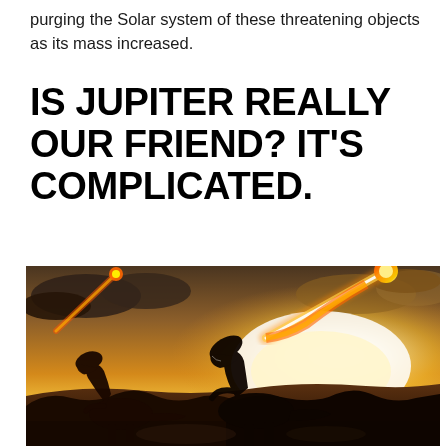purging the Solar system of these threatening objects as its mass increased.
IS JUPITER REALLY OUR FRIEND? IT'S COMPLICATED.
[Figure (illustration): Digital illustration showing two dinosaurs fleeing as fireballs/meteors streak across a dramatic orange and golden sky with clouds and glowing horizon. An extinction event scene.]